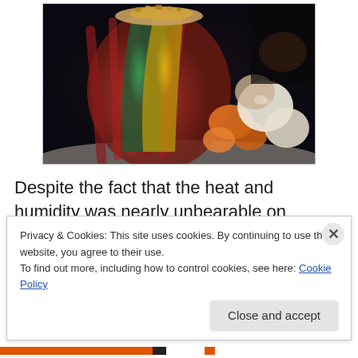[Figure (photo): A roasted squash or pumpkin wrapped in bacon, sliced open to reveal colorful yellow and green interior, surrounded by roasted vegetables including onions and carrots on a white plate, photographed in dim restaurant lighting.]
Despite the fact that the heat and humidity was nearly unbearable on Saturday night, I opted to use a lot of oven
Privacy & Cookies: This site uses cookies. By continuing to use this website, you agree to their use.
To find out more, including how to control cookies, see here: Cookie Policy
Close and accept